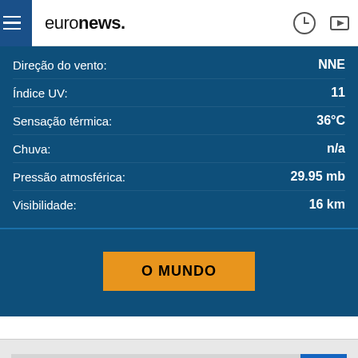euronews.
Direção do vento: NNE
Índice UV: 11
Sensação térmica: 36°C
Chuva: n/a
Pressão atmosférica: 29.95 mb
Visibilidade: 16 km
O MUNDO
Procurar